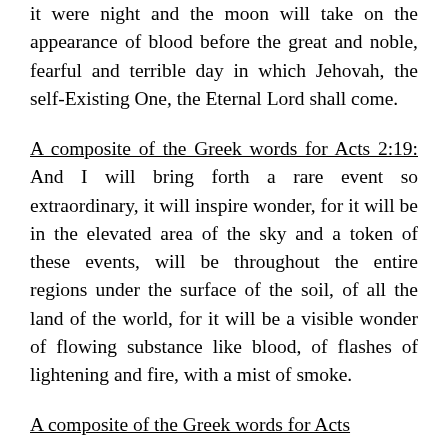it were night and the moon will take on the appearance of blood before the great and noble, fearful and terrible day in which Jehovah, the self-Existing One, the Eternal Lord shall come.
A composite of the Greek words for Acts 2:19: And I will bring forth a rare event so extraordinary, it will inspire wonder, for it will be in the elevated area of the sky and a token of these events, will be throughout the entire regions under the surface of the soil, of all the land of the world, for it will be a visible wonder of flowing substance like blood, of flashes of lightening and fire, with a mist of smoke.
A composite of the Greek words for Acts